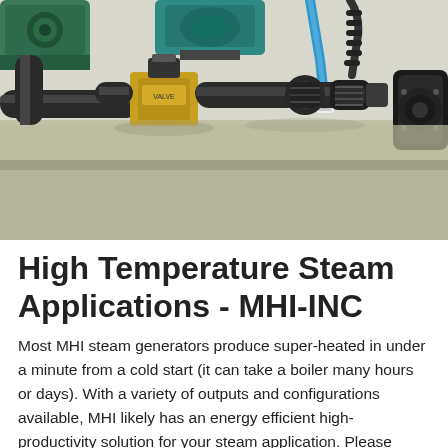[Figure (photo): Close-up photograph of industrial piping and valve assembly on a steam generator or pump system. Shows black PVC pipes, a brass solenoid valve, a blue tube, pipe fittings, and a teal/green pump motor in the background, mounted on a light-colored surface.]
High Temperature Steam Applications - MHI-INC
Most MHI steam generators produce super-heated in under a minute from a cold start (it can take a boiler many hours or days). With a variety of outputs and configurations available, MHI likely has an energy efficient high-productivity solution for your steam application. Please